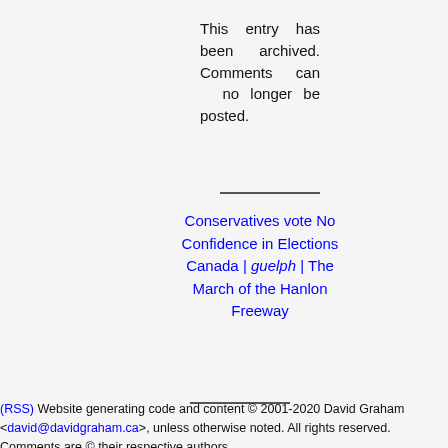This entry has been archived. Comments can no longer be posted.
Conservatives vote No Confidence in Elections Canada | guelph | The March of the Hanlon Freeway
(RSS) Website generating code and content © 2001-2020 David Graham <david@davidgraham.ca>, unless otherwise noted. All rights reserved. Comments are © their respective authors.